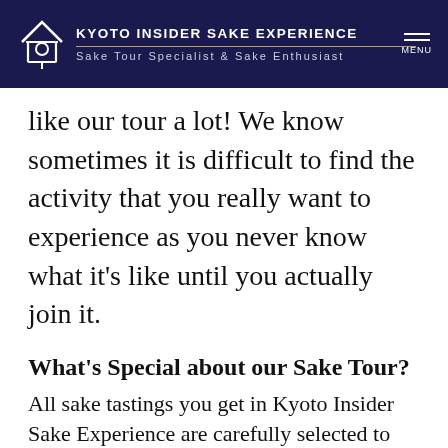KYOTO INSIDER SAKE EXPERIENCE — Sake Tour Specialist & Sake Enthusiast
like our tour a lot! We know sometimes it is difficult to find the activity that you really want to experience as you never know what it's like until you actually join it.
What's Special about our Sake Tour?
All sake tastings you get in Kyoto Insider Sake Experience are carefully selected to help better understanding when learning sake. Through our expert-lead tasting session you'll get the chance